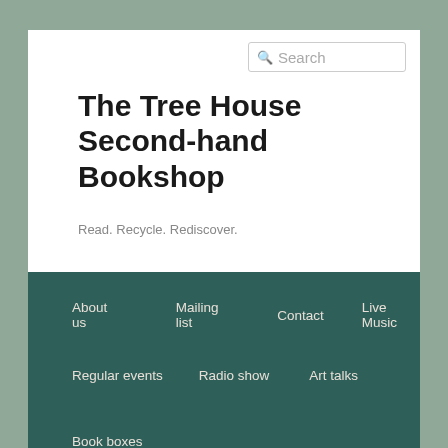Search
The Tree House Second-hand Bookshop
Read. Recycle. Rediscover.
About us
Mailing list
Contact
Live Music
Regular events
Radio show
Art talks
Book boxes
TAG ARCHIVES: PAPER&PEN